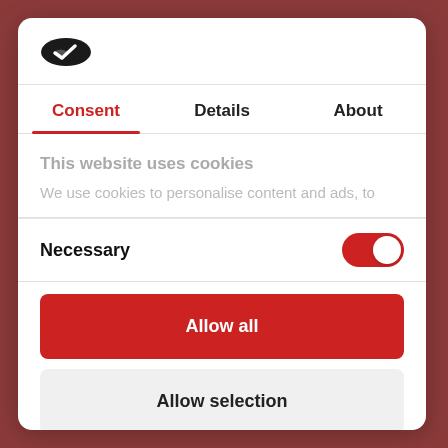[Figure (logo): Cookiebot logo icon — dark oval with white checkmark]
Consent | Details | About
This website uses cookies
We use cookies to personalise content and ads, to
Necessary
Allow all
Allow selection
Powered by Cookiebot by Usercentrics